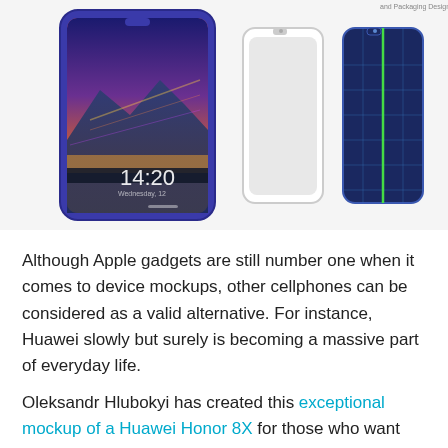[Figure (photo): Product mockup image showing a Huawei Honor 8X smartphone with a colorful cityscape wallpaper displaying time 14:20, alongside two additional views: a plain white/gray front-facing outline and a blue grid/engineering schematic view of the phone. Small text at top right reads 'and Packaging Design'.]
Although Apple gadgets are still number one when it comes to device mockups, other cellphones can be considered as a valid alternative. For instance, Huawei slowly but surely is becoming a massive part of everyday life.
Oleksandr Hlubokyi has created this exceptional mockup of a Huawei Honor 8X for those who want